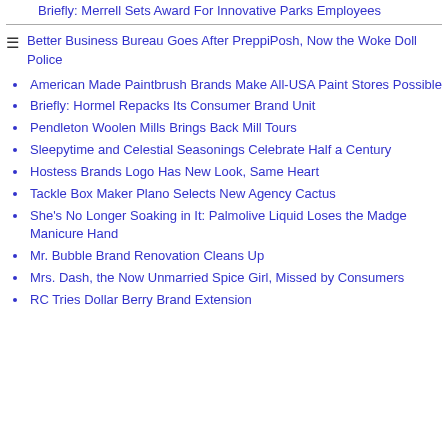Briefly: Merrell Sets Award For Innovative Parks Employees
Better Business Bureau Goes After PreppiPosh, Now the Woke Doll Police
American Made Paintbrush Brands Make All-USA Paint Stores Possible
Briefly: Hormel Repacks Its Consumer Brand Unit
Pendleton Woolen Mills Brings Back Mill Tours
Sleepytime and Celestial Seasonings Celebrate Half a Century
Hostess Brands Logo Has New Look, Same Heart
Tackle Box Maker Plano Selects New Agency Cactus
She's No Longer Soaking in It: Palmolive Liquid Loses the Madge Manicure Hand
Mr. Bubble Brand Renovation Cleans Up
Mrs. Dash, the Now Unmarried Spice Girl, Missed by Consumers
RC Tries Dollar Berry Brand Extension